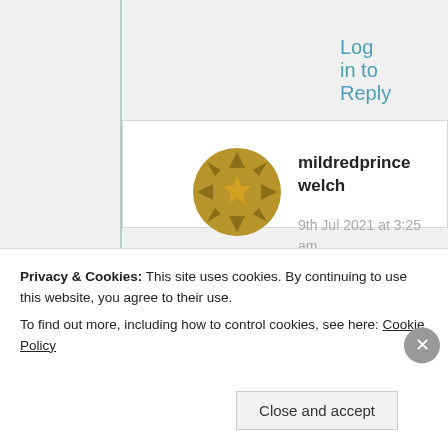Log in to Reply
[Figure (illustration): Golden/yellow decorative avatar icon with star/snowflake pattern]
mildredprince welch
9th Jul 2021 at 3:25 am
I have blocked you on my email… you can't
Privacy & Cookies: This site uses cookies. By continuing to use this website, you agree to their use.
To find out more, including how to control cookies, see here: Cookie Policy
Close and accept